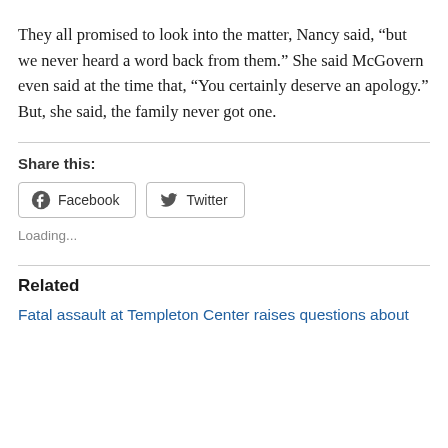They all promised to look into the matter, Nancy said, “but we never heard a word back from them.” She said McGovern even said at the time that, “You certainly deserve an apology.” But, she said, the family never got one.
Share this:
[Figure (other): Social share buttons: Facebook and Twitter]
Loading...
Related
Fatal assault at Templeton Center raises questions about